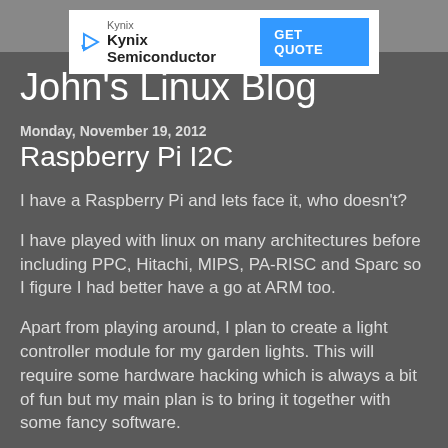[Figure (other): Kynix Semiconductor advertisement banner with GET QUOTE button]
John's Linux Blog
Monday, November 19, 2012
Raspberry Pi I2C
I have a Raspberry Pi and lets face it, who doesn't?
I have played with linux on many architectures before including PPC, Hitachi, MIPS, PA-RISC and Sparc so I figure I had better have a go at ARM too.
Apart from playing around, I plan to create a light controller module for my garden lights. This will require some hardware hacking which is always a bit of fun but my main plan is to bring it together with some fancy software.